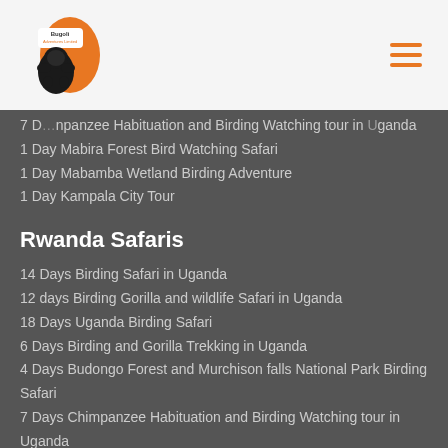Bugoli Adventures Limited
7 Days Chimpanzee Habituation and Birding Watching tour in Uganda
1 Day Mabira Forest Bird Watching Safari
1 Day Mabamba Wetland Birding Adventure
1 Day Kampala City Tour
Rwanda Safaris
14 Days Birding Safari in Uganda
12 days Birding Gorilla and wildlife Safari in Uganda
18 Days Uganda Birding Safari
6 Days Birding and Gorilla Trekking in Uganda
4 Days Budongo Forest and Murchison falls National Park Birding Safari
7 Days Chimpanzee Habituation and Birding Watching tour in Uganda